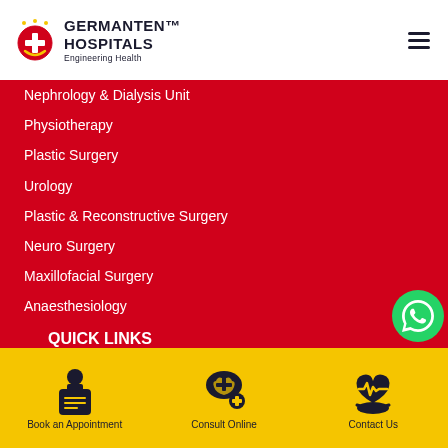GERMANTEN HOSPITALS — Engineering Health
Nephrology & Dialysis Unit
Physiotherapy
Plastic Surgery
Urology
Plastic & Reconstructive Surgery
Neuro Surgery
Maxillofacial Surgery
Anaesthesiology
QUICK LINKS
About Us
International Patients
News & Events
Testimonials
Blogs
[Figure (illustration): WhatsApp contact button icon — green circle with phone handset]
[Figure (infographic): Bottom action bar with three icons: Book an Appointment, Consult Online, Contact Us on yellow background]